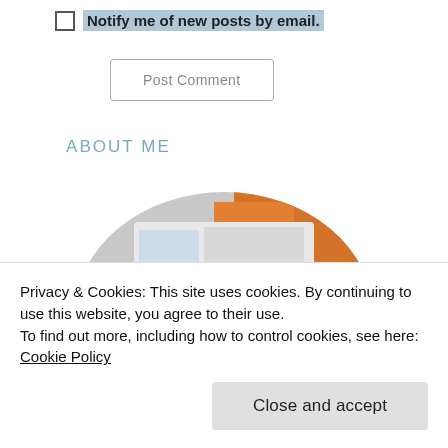Notify me of new posts by email.
Post Comment
ABOUT ME
[Figure (photo): Circular profile photo of a woman with curly dark hair smiling, with a child next to her, orange flowers and a white van in the background]
Privacy & Cookies: This site uses cookies. By continuing to use this website, you agree to their use.
To find out more, including how to control cookies, see here: Cookie Policy
Close and accept